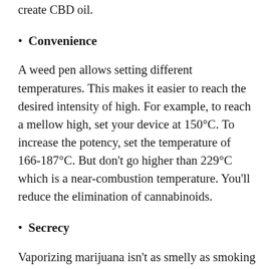create CBD oil.
Convenience
A weed pen allows setting different temperatures. This makes it easier to reach the desired intensity of high. For example, to reach a mellow high, set your device at 150°C. To increase the potency, set the temperature of 166-187°C. But don't go higher than 229°C which is a near-combustion temperature. You'll reduce the elimination of cannabinoids.
Secrecy
Vaporizing marijuana isn't as smelly as smoking it. Moreover, vapor dissipates faster than smoke. So, you